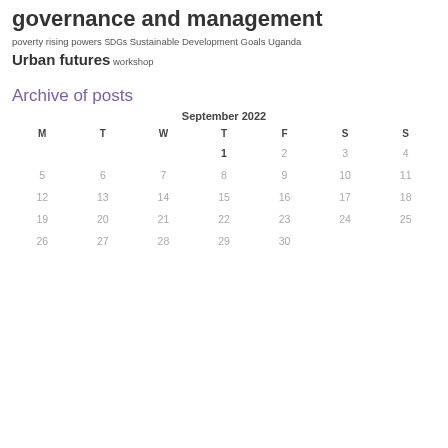governance and management poverty rising powers SDGs Sustainable Development Goals Uganda Urban futures workshop
Archive of posts
| M | T | W | T | F | S | S |
| --- | --- | --- | --- | --- | --- | --- |
|  |  |  | 1 | 2 | 3 | 4 |
| 5 | 6 | 7 | 8 | 9 | 10 | 11 |
| 12 | 13 | 14 | 15 | 16 | 17 | 18 |
| 19 | 20 | 21 | 22 | 23 | 24 | 25 |
| 26 | 27 | 28 | 29 | 30 |  |  |